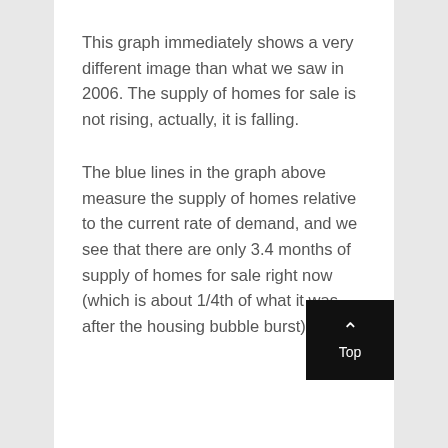This graph immediately shows a very different image than what we saw in 2006. The supply of homes for sale is not rising, actually, it is falling.
The blue lines in the graph above measure the supply of homes relative to the current rate of demand, and we see that there are only 3.4 months of supply of homes for sale right now (which is about 1/4th of what it was after the housing bubble burst).